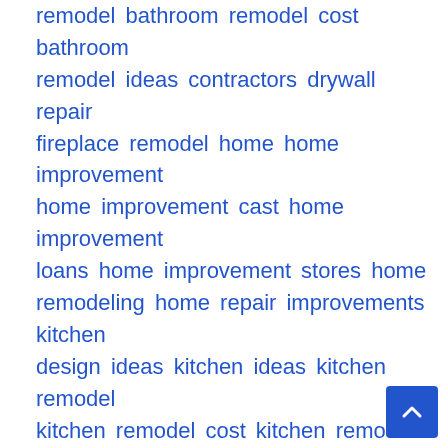remodel bathroom remodel cost bathroom remodel ideas contractors drywall repair fireplace remodel home home improvement home improvement cast home improvement loans home improvement stores home remodeling home repair improvements kitchen design ideas kitchen ideas kitchen remodel kitchen remodel cost kitchen remodel ideas lowe's home improvement remodeling renovation bathroom remodel bathroom remodel cost bathroom remodel ideas contractors drywall repair fireplace remodel home home improvement home improvement cast home improvement loans home improvement stores home remodeling home repair improvements kitchen design ideas kitchen ideas kitchen remodel kitchen remodel